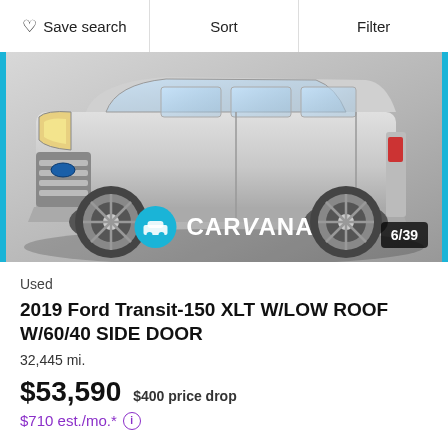Save search  Sort  Filter
[Figure (photo): Front/side view of a silver 2019 Ford Transit-150 van on a grey background, with Carvana logo overlay and photo count 6/39]
Used
2019 Ford Transit-150 XLT W/LOW ROOF W/60/40 SIDE DOOR
32,445 mi.
$53,590  $400 price drop
$710 est./mo.*
Home Delivery  Virtual Appointments
Free CARFAX 1-Owner Report ↗